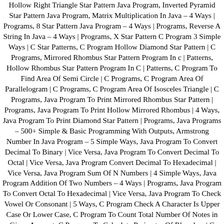Hollow Right Triangle Star Pattern Java Program, Inverted Pyramid Star Pattern Java Program, Matrix Multiplication In Java – 4 Ways | Programs, 8 Star Pattern Java Program – 4 Ways | Programs, Reverse A String In Java – 4 Ways | Programs, X Star Pattern C Program 3 Simple Ways | C Star Patterns, C Program Hollow Diamond Star Pattern | C Programs, Mirrored Rhombus Star Pattern Program In c | Patterns, Hollow Rhombus Star Pattern Program In C | Patterns, C Program To Find Area Of Semi Circle | C Programs, C Program Area Of Parallelogram | C Programs, C Program Area Of Isosceles Triangle | C Programs, Java Program To Print Mirrored Rhombus Star Pattern | Programs, Java Program To Print Hollow Mirrored Rhombus | 4 Ways, Java Program To Print Diamond Star Pattern | Programs, Java Programs – 500+ Simple & Basic Programming With Outputs, Armstrong Number In Java Program – 5 Simple Ways, Java Program To Convert Decimal To Binary | Vice Versa, Java Program To Convert Decimal To Octal | Vice Versa, Java Program Convert Decimal To Hexadecimal | Vice Versa, Java Program Sum Of N Numbers | 4 Simple Ways, Java Program Addition Of Two Numbers – 4 Ways | Programs, Java Program To Convert Octal To Hexadecimal | Vice Versa, Java Program To Check Vowel Or Consonant | 5 Ways, C Program Check A Character Is Upper Case Or Lower Case, C Program To Count Total Number Of Notes in Given Amount, C Program To Calculate Perimeter Of Rhombus | C Programs, C Program To Calculate Perimeter Of Rectangle | C Programs, C Program To Calculate Perimeter Of Square | C Programs,